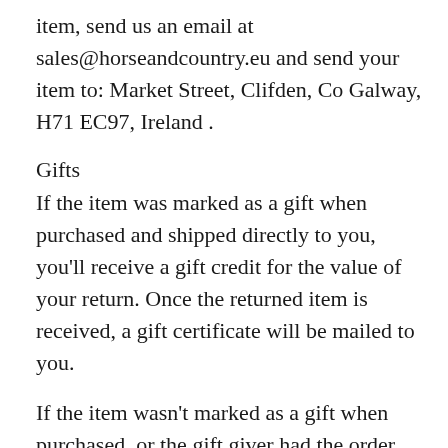item, send us an email at sales@horseandcountry.eu and send your item to: Market Street, Clifden, Co Galway, H71 EC97, Ireland .
Gifts
If the item was marked as a gift when purchased and shipped directly to you, you'll receive a gift credit for the value of your return. Once the returned item is received, a gift certificate will be mailed to you.
If the item wasn't marked as a gift when purchased, or the gift giver had the order shipped to themselves to give to you later, we will send a refund to the gift giver and he will find out about your return.
Shipping